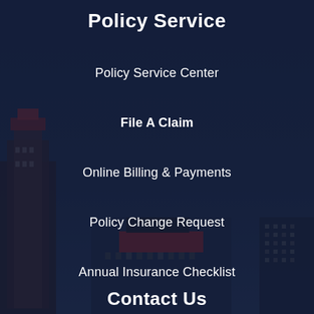Policy Service
Policy Service Center
File A Claim
Online Billing & Payments
Policy Change Request
Annual Insurance Checklist
Contact Us